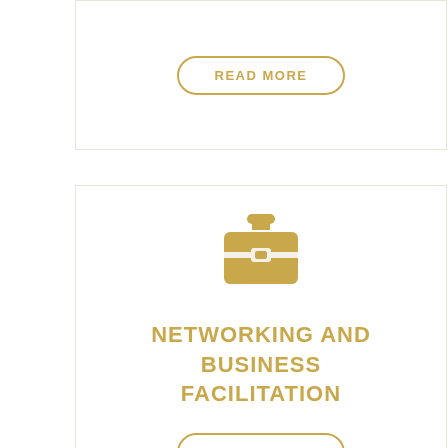[Figure (other): READ MORE button with rounded rectangle border in gold/yellow color]
[Figure (illustration): Gold briefcase icon]
NETWORKING AND BUSINESS FACILITATION
[Figure (other): READ MORE button with rounded rectangle border in gold/yellow color]